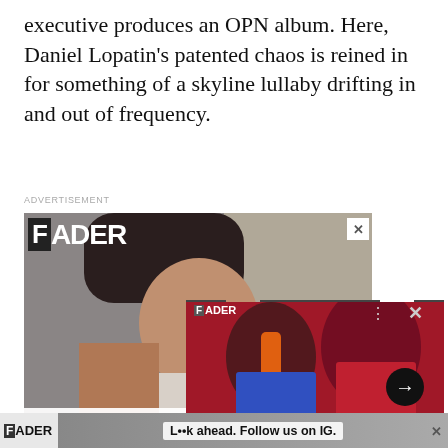executive produces an OPN album. Here, Daniel Lopatin's patented chaos is reined in for something of a skyline lullaby drifting in and out of frequency.
ADVERTISEMENT
[Figure (photo): FADER magazine advertisement featuring a woman with tattoos in a leopard print outfit against a grey background]
[Figure (photo): Overlay card showing Anitta and Missy Elliott against a red background, with FADER logo and navigation controls]
Anitta enlists Missy Elliott for new song and video "Lobby"
[Figure (photo): Bottom banner advertisement for FADER with text 'L••k ahead. Follow us on IG.']